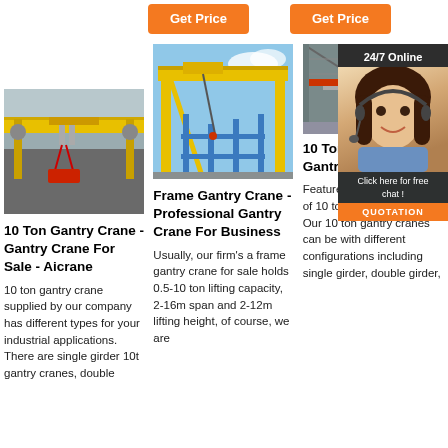[Figure (other): Orange 'Get Price' button (center-left top)]
[Figure (other): Orange 'Get Price' button (center-right top)]
[Figure (photo): Yellow overhead/bridge crane in industrial facility with red rigging]
[Figure (photo): Yellow frame gantry crane on blue steel structure under blue sky]
[Figure (photo): Industrial warehouse interior with overhead crane structure]
[Figure (other): 24/7 Online chat widget with female customer service representative]
10 Ton Gantry Crane - Gantry Crane For Sale - Aicrane
10 ton gantry crane supplied by our company has different types for your industrial applications. There are single girder 10t gantry cranes, double
Frame Gantry Crane - Professional Gantry Crane For Business
Usually, our firm's a frame gantry crane for sale holds 0.5-10 ton lifting capacity, 2-16m span and 2-12m lifting height, of course, we are
10 Ton Gantry Crane - Gantry Crane Different ...
Features and Applications of 10 ton Gantry Crane. Our 10 ton gantry cranes can be with different configurations including single girder, double girder,